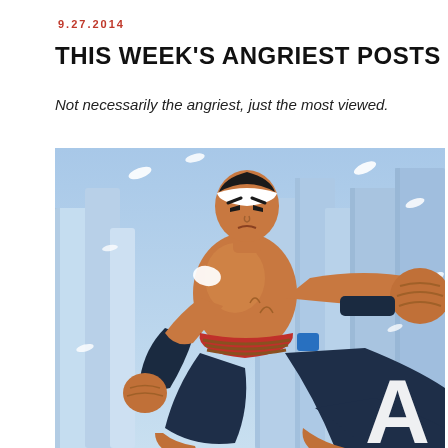9.27.2014
THIS WEEK'S ANGRIEST POSTS
Not necessarily the angriest, just the most viewed.
[Figure (illustration): Animated cartoon character — a muscular male fighter wearing a white headband, dark pants, red belt, and dark arm wraps, lunging forward with fists clenched in a fighting pose against an icy blue background. A large white letter 'A' watermark appears in the lower right corner.]